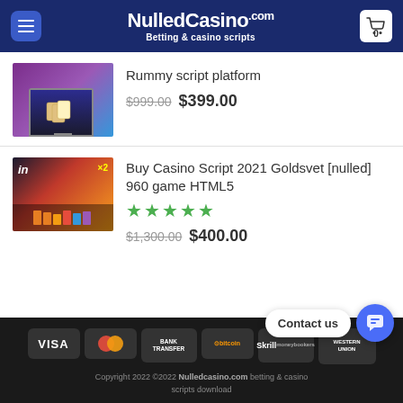NulledCasino.com Betting & casino scripts
Rummy script platform $999.00 $399.00
Buy Casino Script 2021 Goldsvet [nulled] 960 game HTML5 ★★★★★ $1,300.00 $400.00
VISA MasterCard BANK TRANSFER bitcoin Skrill moneybookers WESTERN UNION Copyright 2022 ©2022 Nulledcasino.com betting & casino scripts download